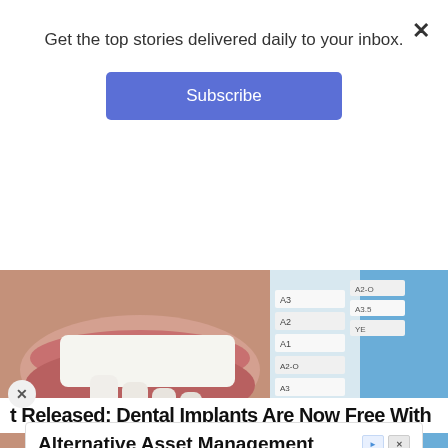Get the top stories delivered daily to your inbox.
Subscribe
[Figure (photo): Close-up of a dental shade guide being held up against a patient's teeth for color matching, with gloved hands visible]
t Released: Dental Implants Are Now Free With
Alternative Asset Management
Check out our Whitepaper to learn more: "Demystifying The Monetization of TRAs"
Parallaxes Capital, LLC
Open